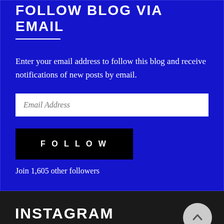FOLLOW BLOG VIA EMAIL
Enter your email address to follow this blog and receive notifications of new posts by email.
Email Address
FOLLOW
Join 1,605 other followers
INSTAGRAM
No Instagram images were found.